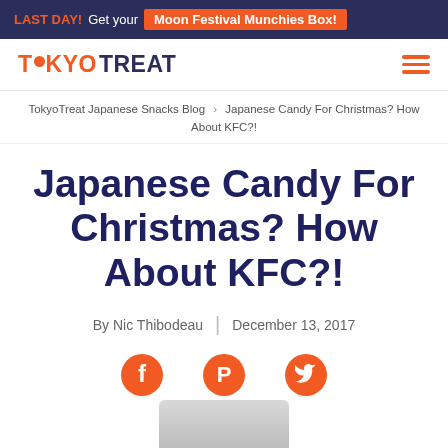LAST DAY! Get your Moon Festival Munchies Box!
[Figure (logo): TokyoTreat logo with orange text and hamburger menu icon]
TokyoTreat Japanese Snacks Blog › Japanese Candy For Christmas? How About KFC?!
Japanese Candy For Christmas? How About KFC?!
By Nic Thibodeau | December 13, 2017
[Figure (infographic): Social media sharing icons: Facebook, Pinterest, Twitter in orange circles]
[Figure (photo): Partial image at bottom of page, appears to be food-related]